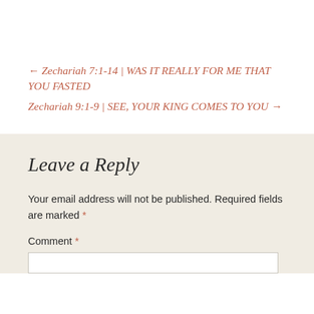← Zechariah 7:1-14 | WAS IT REALLY FOR ME THAT YOU FASTED
Zechariah 9:1-9 | SEE, YOUR KING COMES TO YOU →
Leave a Reply
Your email address will not be published. Required fields are marked *
Comment *